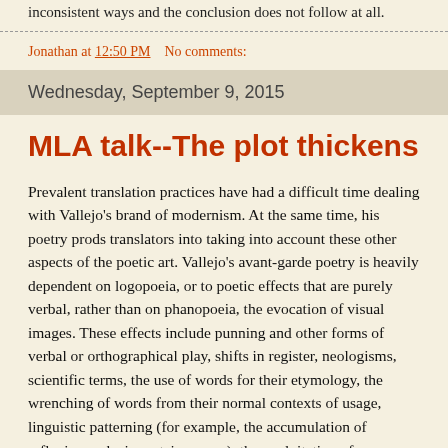inconsistent ways and the conclusion does not follow at all.
Jonathan at 12:50 PM    No comments:
Wednesday, September 9, 2015
MLA talk--The plot thickens
Prevalent translation practices have had a difficult time dealing with Vallejo's brand of modernism. At the same time, his poetry prods translators into taking into account these other aspects of the poetic art. Vallejo's avant-garde poetry is heavily dependent on logopoeia, or to poetic effects that are purely verbal, rather than on phanopoeia, the evocation of visual images. These effects include punning and other forms of verbal or orthographical play, shifts in register, neologisms, scientific terms, the use of words for their etymology, the wrenching of words from their normal contexts of usage, linguistic patterning (for example, the accumulation of reflexive verbs in certain poems), the exploitation of enjambment for dramatic value, and the